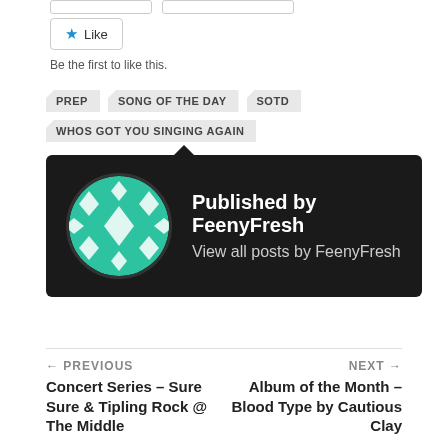[Figure (other): Like button with star icon]
Be the first to like this.
PREP
SONG OF THE DAY
SOTD
WHOS GOT YOU SINGING AGAIN
[Figure (other): Author card with avatar: Published by FeenyFresh, View all posts by FeenyFresh]
← PREVIOUS
Concert Series – Sure Sure & Tipling Rock @ The Middle
NEXT →
Album of the Month – Blood Type by Cautious Clay